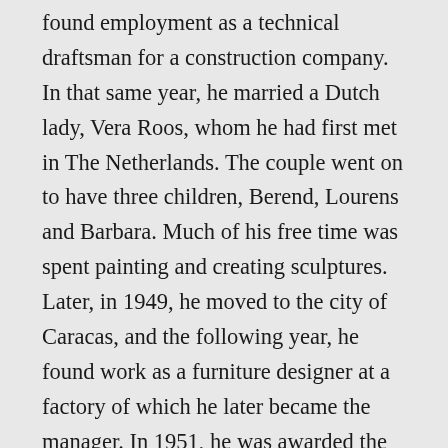found employment as a technical draftsman for a construction company. In that same year, he married a Dutch lady, Vera Roos, whom he had first met in The Netherlands. The couple went on to have three children, Berend, Lourens and Barbara. Much of his free time was spent painting and creating sculptures. Later, in 1949, he moved to the city of Caracas, and the following year, he found work as a furniture designer at a factory of which he later became the manager. In 1951, he was awarded the National Sculpture Prize. In 1955 he was hired by the Faculty of Architecture and Urbanism of the Universidad Central de Venezuela to teach courses in decoration, drawing, watercolour and gouache, which was then combined into a